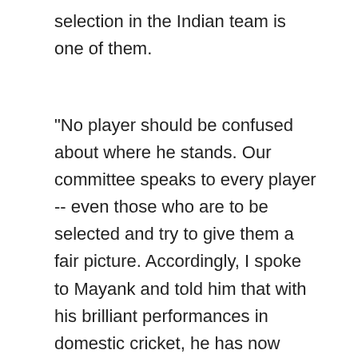selection in the Indian team is one of them.
"No player should be confused about where he stands. Our committee speaks to every player -- even those who are to be selected and try to give them a fair picture. Accordingly, I spoke to Mayank and told him that with his brilliant performances in domestic cricket, he has now definitely got himself in the mix (national team reckoning). I told him that he is now in the queue," Prasad informed.